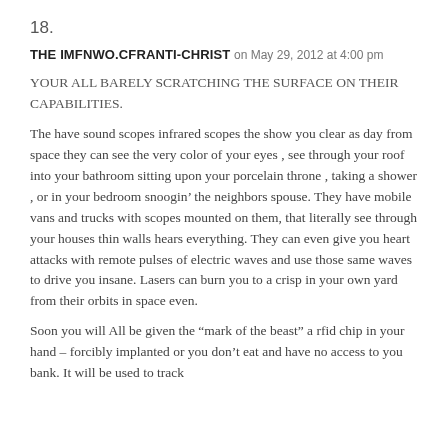18.
THE IMFNWO.CFRANTI-CHRIST on May 29, 2012 at 4:00 pm
YOUR ALL BARELY SCRATCHING THE SURFACE ON THEIR CAPABILITIES.
The have sound scopes infrared scopes the show you clear as day from space they can see the very color of your eyes , see through your roof into your bathroom sitting upon your porcelain throne , taking a shower , or in your bedroom snoogin’ the neighbors spouse. They have mobile vans and trucks with scopes mounted on them, that literally see through your houses thin walls hears everything. They can even give you heart attacks with remote pulses of electric waves and use those same waves to drive you insane. Lasers can burn you to a crisp in your own yard from their orbits in space even.
Soon you will All be given the “mark of the beast” a rfid chip in your hand – forcibly implanted or you don’t eat and have no access to you bank. It will be used to track